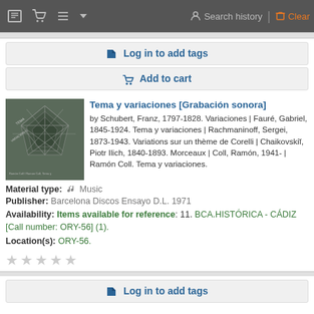Search history | Clear
Log in to add tags
Add to cart
Tema y variaciones [Grabación sonora]
by Schubert, Franz, 1797-1828. Variaciones | Fauré, Gabriel, 1845-1924. Tema y variaciones | Rachmaninoff, Sergei, 1873-1943. Variations sur un thème de Corelli | Chaikovskiĭ, Piotr Ilich, 1840-1893. Morceaux | Coll, Ramón, 1941- | Ramón Coll. Tema y variaciones.
Material type: Music
Publisher: Barcelona Discos Ensayo D.L. 1971
Availability: Items available for reference: 11. BCA.HISTÓRICA - CÁDIZ [Call number: ORY-56] (1).
Location(s): ORY-56.
Log in to add tags